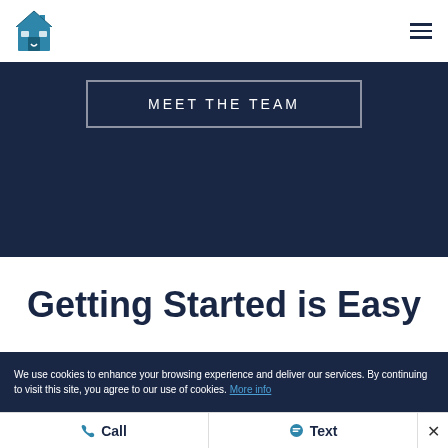Logo and navigation header
MEET THE TEAM
Getting Started is Easy
We use cookies to enhance your browsing experience and deliver our services. By continuing to visit this site, you agree to our use of cookies. More info
Call  Text